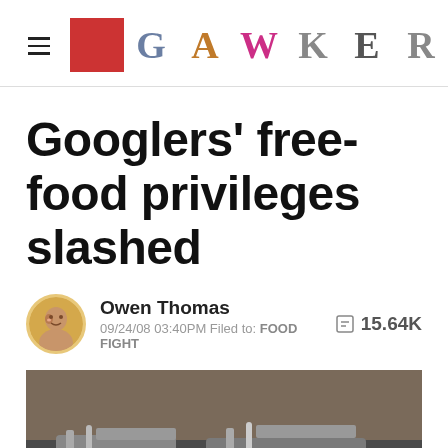GAWKER
Googlers' free-food privileges slashed
Owen Thomas  15.64K
09/24/08 03:40PM Filed to: FOOD FIGHT
[Figure (photo): Photo of kitchen sink area, stainless steel sinks and faucets, dark and industrial looking]